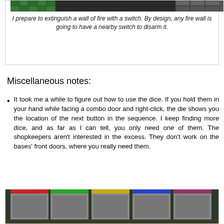[Figure (screenshot): Top portion of a game screenshot showing a fire wall scene with green grid tiles and a switch panel on the right]
I prepare to extinguish a wall of fire with a switch. By design, any fire wall is going to have a nearby switch to disarm it.
Miscellaneous notes:
It took me a while to figure out how to use the dice. If you hold them in your hand while facing a combo door and right-click, the die shows you the location of the next button in the sequence. I keep finding more dice, and as far as I can tell, you only need one of them. The shopkeepers aren't interested in the excess. They don't work on the bases' front doors, where you really need them.
[Figure (screenshot): Bottom game screenshot showing five gray square button panels with colored stripes above them (red, green, yellow, blue, pink) on a dark background]